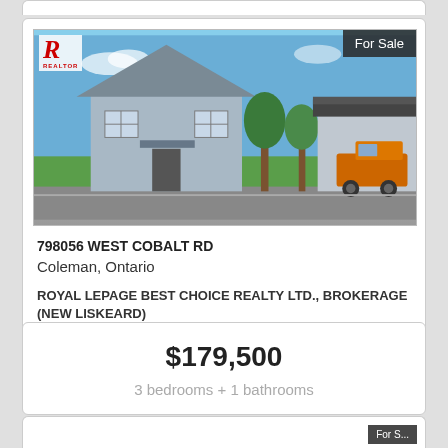[Figure (photo): Exterior photo of a residential property at 798056 West Cobalt Rd, Coleman Ontario. Shows a light blue/grey house with green lawn, trees, and neighboring garage with orange truck. Blue sky. 'For Sale' badge in top-right corner. REALTOR logo in top-left.]
798056 WEST COBALT RD
Coleman, Ontario
ROYAL LEPAGE BEST CHOICE REALTY LTD., BROKERAGE (NEW LISKEARD)
$179,500
3 bedrooms + 1 bathrooms